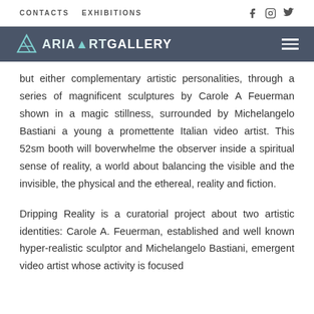CONTACTS   EXHIBITIONS
[Figure (logo): Aria Art Gallery logo with stylized A icon on dark grey background]
but either complementary artistic personalities, through a series of magnificent sculptures by Carole A Feuerman shown in a magic stillness, surrounded by Michelangelo Bastiani a young a promettente Italian video artist. This 52sm booth will boverwhelme the observer inside a spiritual sense of reality, a world about balancing the visible and the invisible, the physical and the ethereal, reality and fiction.
Dripping Reality is a curatorial project about two artistic identities: Carole A. Feuerman, established and well known hyper-realistic sculptor and Michelangelo Bastiani, emergent video artist whose activity is focused